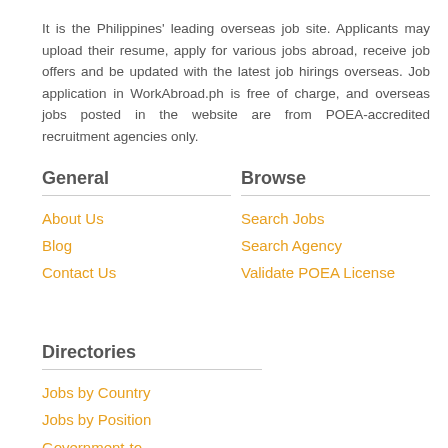It is the Philippines' leading overseas job site. Applicants may upload their resume, apply for various jobs abroad, receive job offers and be updated with the latest job hirings overseas. Job application in WorkAbroad.ph is free of charge, and overseas jobs posted in the website are from POEA-accredited recruitment agencies only.
General
About Us
Blog
Contact Us
Browse
Search Jobs
Search Agency
Validate POEA License
Directories
Jobs by Country
Jobs by Position
Government-to-Government Jobs